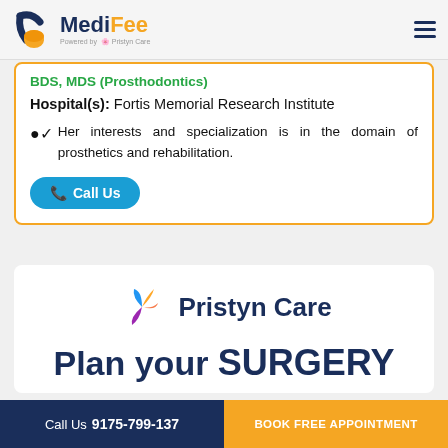[Figure (logo): MediFee logo powered by Pristyn Care, with hamburger menu icon on the right]
BDS, MDS (Prosthodontics)
Hospital(s): Fortis Memorial Research Institute
Her interests and specialization is in the domain of prosthetics and rehabilitation.
Call Us
[Figure (logo): Pristyn Care logo with colorful leaf/petal icon and bold Pristyn Care text]
Plan your SURGERY
Call Us 9175-799-137   BOOK FREE APPOINTMENT